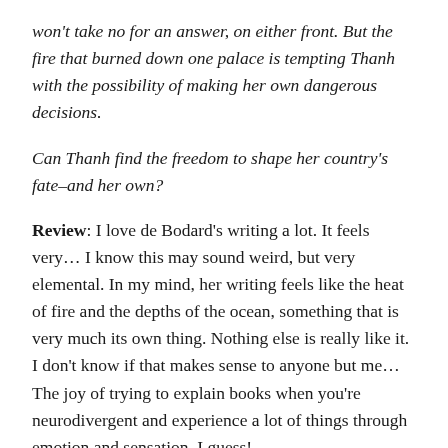won't take no for an answer, on either front. But the fire that burned down one palace is tempting Thanh with the possibility of making her own dangerous decisions.
Can Thanh find the freedom to shape her country's fate–and her own?
Review: I love de Bodard's writing a lot. It feels very… I know this may sound weird, but very elemental. In my mind, her writing feels like the heat of fire and the depths of the ocean, something that is very much its own thing. Nothing else is really like it. I don't know if that makes sense to anyone but me… The joy of trying to explain books when you're neurodivergent and experience a lot of things through emotion and sensation, I guess!
Anyway, Fireheart Tiger is the story of Thanh, Imperial